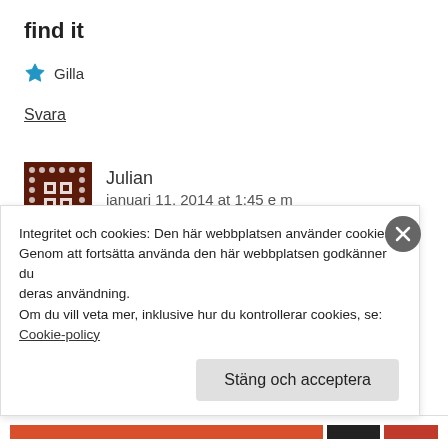find it
★ Gilla
Svara
Julian
janari 11, 2014 at 1:45 e m
Integritet och cookies: Den här webbplatsen använder cookies. Genom att fortsätta använda den här webbplatsen godkänner du deras användning.
Om du vill veta mer, inklusive hur du kontrollerar cookies, se: Cookie-policy
Stäng och acceptera